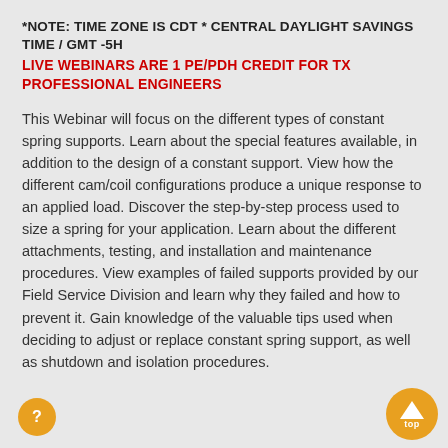*NOTE: TIME ZONE IS CDT * CENTRAL DAYLIGHT SAVINGS TIME / GMT -5H
LIVE WEBINARS ARE 1 PE/PDH CREDIT FOR TX PROFESSIONAL ENGINEERS
This Webinar will focus on the different types of constant spring supports. Learn about the special features available, in addition to the design of a constant support. View how the different cam/coil configurations produce a unique response to an applied load. Discover the step-by-step process used to size a spring for your application. Learn about the different attachments, testing, and installation and maintenance procedures. View examples of failed supports provided by our Field Service Division and learn why they failed and how to prevent it. Gain knowledge of the valuable tips used when deciding to adjust or replace constant spring support, as well as shutdown and isolation procedures.